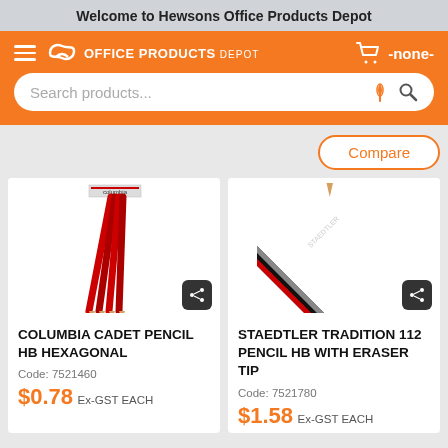Welcome to Hewsons Office Products Depot
[Figure (screenshot): Office Products Depot orange navigation bar with hamburger menu, logo, cart icon and -none- label]
[Figure (screenshot): Search bar with 'Search products...' placeholder, microphone and magnifier icons]
Compare
[Figure (photo): Columbia Cadet HB pencils in red packaging, fanned out]
COLUMBIA CADET PENCIL HB HEXAGONAL
Code: 7521460
$0.78 Ex-GST EACH
[Figure (photo): Staedtler Tradition 112 HB pencil with eraser tip, diagonal view]
STAEDTLER TRADITION 112 PENCIL HB WITH ERASER TIP
Code: 7521780
$1.58 Ex-GST EACH